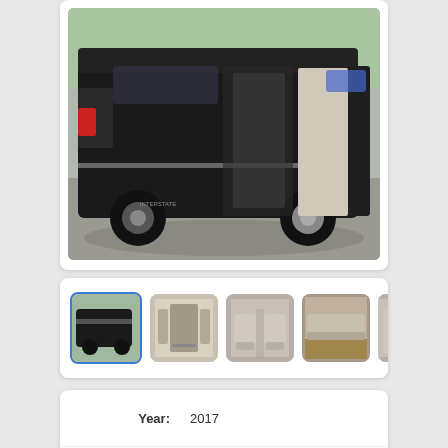[Figure (photo): Black Airstream Interstate camper van photographed from the side with sliding door open, parked in a lot with trees in background]
[Figure (photo): Thumbnail 1: Black Airstream Interstate van exterior side view]
[Figure (photo): Thumbnail 2: Interior of van showing rear seating area]
[Figure (photo): Thumbnail 3: Interior of van showing captain's chairs]
[Figure (photo): Thumbnail 4: Interior rear lounge area with wood floor]
| Label | Value |
| --- | --- |
| Year: | 2017 |
| Make: | Airstream |
| Model: | Interstate |
| Trim: | GL |
| Length: | 24.38 |